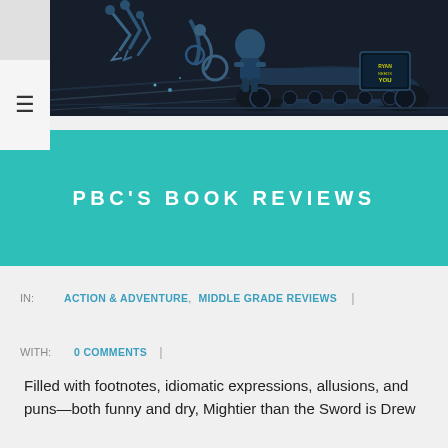[Figure (illustration): Comic-book style sci-fi illustration showing robotic/mechanical figures in blue-gray tones with action scene elements]
PBC'S BOOK REVIEWS
IN:   ACTION & ADVENTURE, MIDDLE GRADE REVIEWS  |
WITH:   0 COMMENTS  |
Filled with footnotes, idiomatic expressions, allusions, and puns—both funny and dry, Mightier than the Sword is Drew